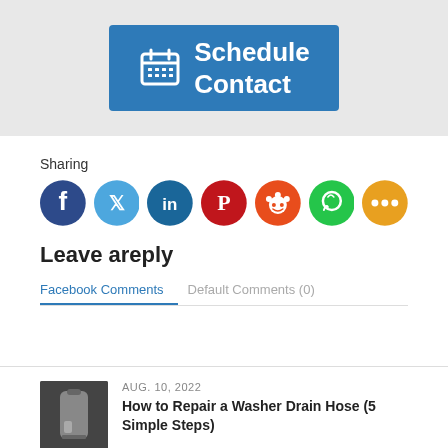[Figure (other): Blue button with calendar icon and text 'Schedule Contact']
Sharing
[Figure (other): Row of social media sharing icons: Facebook, Twitter, LinkedIn, Pinterest, Reddit, WhatsApp, More]
Leave areply
Facebook Comments   Default Comments (0)
[Figure (photo): Thumbnail photo of washer drain hose]
AUG. 10, 2022
How to Repair a Washer Drain Hose (5 Simple Steps)
[Figure (photo): Thumbnail photo of second article]